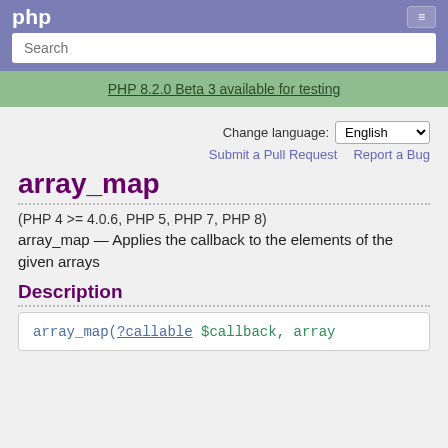Search
PHP 8.2.0 Beta 3 available for testing
Change language: English
Submit a Pull Request   Report a Bug
array_map
(PHP 4 >= 4.0.6, PHP 5, PHP 7, PHP 8)
array_map — Applies the callback to the elements of the given arrays
Description
array_map(?callable $callback, array